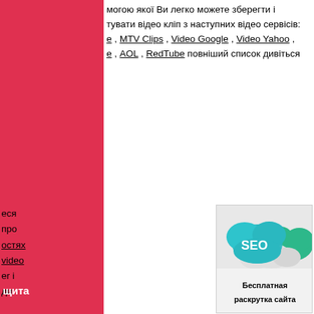могою якої Ви легко можете зберегти і тувати відео кліп з наступних відео сервісів: е , MTV Clips , Video Google , Video Yahoo , е , AOL , RedTube повніший список дивіться
еся
про
остях
video
er i
ди
щита
[Figure (illustration): SEO cloud illustration with teal/green cloud shapes and 'SEO' text in white, above text reading 'Бесплатная раскрутка сайта' on light gray background]